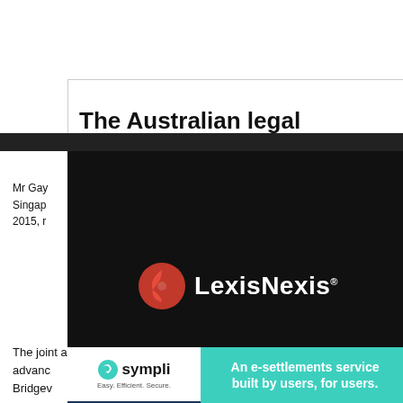The Australian legal
[Figure (logo): LexisNexis logo — red phoenix icon with white LexisNexis text on black background]
Mr Gay... Singapore... and 2015, r...
The joint appointment, the funder said in a statement, advanc... Bridgev...
[Figure (logo): Sympli advertisement — Easy. Efficient. Secure. — An e-settlements service built by users, for users.]